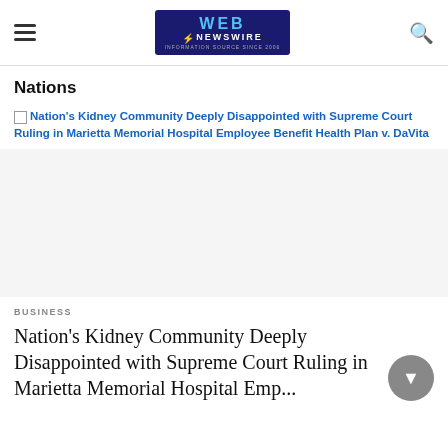Web Newswire
Nations
[Figure (screenshot): Broken image placeholder with link text: Nation's Kidney Community Deeply Disappointed with Supreme Court Ruling in Marietta Memorial Hospital Employee Benefit Health Plan v. DaVita]
BUSINESS
Nation's Kidney Community Deeply Disappointed with Supreme Court Ruling in Marietta Memorial Hospital Emp...